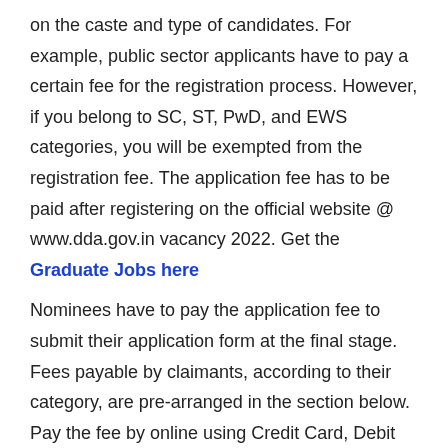on the caste and type of candidates. For example, public sector applicants have to pay a certain fee for the registration process. However, if you belong to SC, ST, PwD, and EWS categories, you will be exempted from the registration fee. The application fee has to be paid after registering on the official website @ www.dda.gov.in vacancy 2022. Get the Graduate Jobs here
Nominees have to pay the application fee to submit their application form at the final stage. Fees payable by claimants, according to their category, are pre-arranged in the section below. Pay the fee by online using Credit Card, Debit Card, or Net Banking Card.
General/ OBC/ EWS: Rs. 500/-
SC/ST/ PwD/ ESM: NIL***